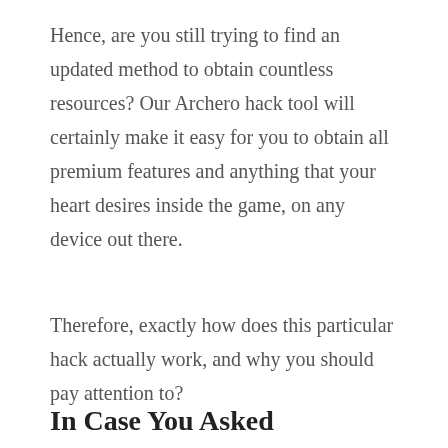Hence, are you still trying to find an updated method to obtain countless resources? Our Archero hack tool will certainly make it easy for you to obtain all premium features and anything that your heart desires inside the game, on any device out there.
Therefore, exactly how does this particular hack actually work, and why you should pay attention to?
In Case You Asked